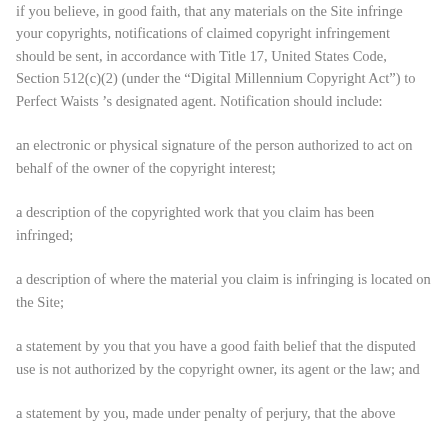if you believe, in good faith, that any materials on the Site infringe your copyrights, notifications of claimed copyright infringement should be sent, in accordance with Title 17, United States Code, Section 512(c)(2) (under the “Digital Millennium Copyright Act”) to Perfect Waists ’s designated agent. Notification should include:
an electronic or physical signature of the person authorized to act on behalf of the owner of the copyright interest;
a description of the copyrighted work that you claim has been infringed;
a description of where the material you claim is infringing is located on the Site;
a statement by you that you have a good faith belief that the disputed use is not authorized by the copyright owner, its agent or the law; and
a statement by you, made under penalty of perjury, that the above